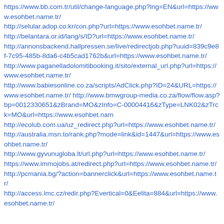https://www.bb.com.tr/util/change-language.php?lng=EN&url=https://www.esohbet.name.tr/ http://selular.adop.co.kr/con.php?url=https://www.esohbet.name.tr/ http://belantara.or.id/lang/s/ID?url=https://www.esohbet.name.tr/ http://annonsbackend.hallpressen.se/live/redirectjob.php?uuid=839c9e8f-7c95-485b-8da6-c4b5cad1762b&url=https://www.esohbet.name.tr/ http://www.paganelladolomitibooking.it/sito/external_url.php?url=https://www.esohbet.name.tr/ http://www.babiesonline.co.za/scripts/AdClick.php?ID=24&URL=https://www.esohbet.name.tr/ http://www.bmwgroup-media.co.za/flow/flow.asp?bp=0012330651&zBrand=MO&zInfo=C-00004416&zType=LNK02&zTrck=MO&url=https://www.esohbet.nam http://ecolub.com.ua/uz_redirect.php?url=https://www.esohbet.name.tr/ http://australia.msn.to/rank.php?mode=link&id=1447&url=https://www.esohbet.name.tr/ http://www.gyvunugloba.lt/url.php?url=https://www.esohbet.name.tr/ https://www.immojobs.at/redirect.php?url=https://www.esohbet.name.tr/ http://pcmania.bg/?action=bannerclick&url=https://www.esohbet.name.tr/ http://access.lmc.cz/redir.php?Evertical=0&Eelita=884&url=https://www.esohbet.name.tr/